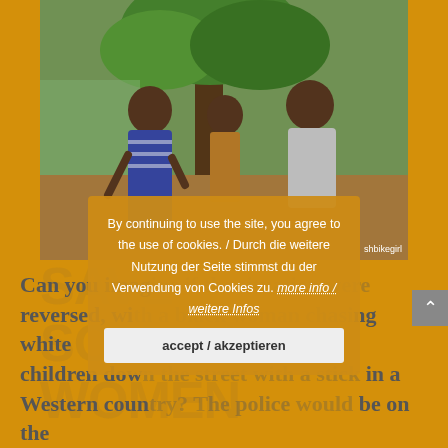[Figure (photo): Three African children standing outdoors near a tree, looking at the camera. One girl in a blue striped dress, a small child in the middle, and a boy in a white t-shirt on the right.]
Can you imagine if the situation were reversed, with a black woman chasing white children down the street with a stick in a Western country? The police would be on the scene in less than a heartbeat.
By continuing to use the site, you agree to the use of cookies. / Durch die weitere Nutzung der Seite stimmst du der Verwendung von Cookies zu. more info / weitere Infos
accept / akzeptieren